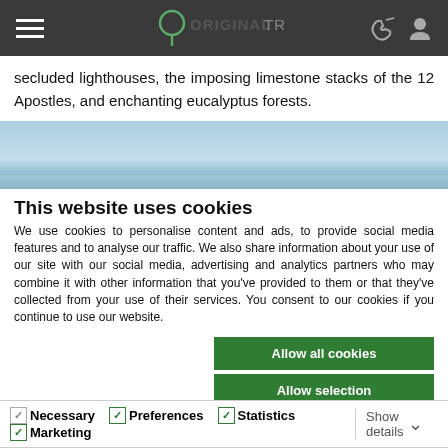Original Travel — navigation header with hamburger menu, logo, phone and profile icons
secluded lighthouses, the imposing limestone stacks of the 12 Apostles, and enchanting eucalyptus forests.
[Figure (photo): Partial landscape photo showing blue sky with a faint horizon line]
This website uses cookies
We use cookies to personalise content and ads, to provide social media features and to analyse our traffic. We also share information about your use of our site with our social media, advertising and analytics partners who may combine it with other information that you've provided to them or that they've collected from your use of their services. You consent to our cookies if you continue to use our website.
Allow all cookies
Allow selection
Use necessary cookies only
Necessary  Preferences  Statistics  Marketing  Show details